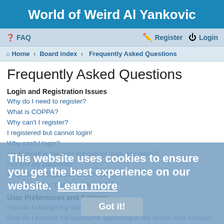World of Weird Al Yankovic
FAQ  Register  Login
Home · Board index · Frequently Asked Questions
Frequently Asked Questions
Login and Registration Issues
Why do I need to register?
What is COPPA?
Why can't I register?
I registered but cannot login!
Why can't I login?
I registered in the past but cannot login any more?!
I've lost my password!
Why do I get logged off automatically?
What does the "Delete cookies" do?
User Preferences and Settings
How do I change my settings?
How do I prevent my username appearing in the online user listings?
The times are not correct!
I changed the timezone and the time is still wrong!
My language is not in the list!
What are the images next to my username?
This website uses cookies to ensure you get the best experience on our website.  Learn more  Got it!